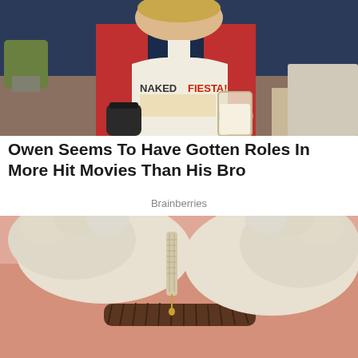[Figure (photo): A man wearing a red shirt and a white apron that reads 'NAKED FIESTA!' holding a coffee cup in one hand and a large glass of milk in the other, standing in what appears to be a kitchen or cafe.]
Owen Seems To Have Gotten Roles In More Hit Movies Than His Bro
Brainberries
[Figure (photo): Close-up of gloved hands performing a procedure near a person's eyebrow, with a tool that appears to be for microblading or a similar eyebrow treatment.]